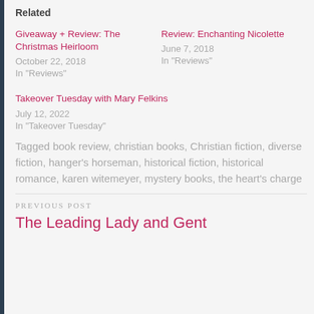Related
Giveaway + Review: The Christmas Heirloom
October 22, 2018
In "Reviews"
Review: Enchanting Nicolette
June 7, 2018
In "Reviews"
Takeover Tuesday with Mary Felkins
July 12, 2022
In "Takeover Tuesday"
Tagged book review, christian books, Christian fiction, diverse fiction, hanger's horseman, historical fiction, historical romance, karen witemeyer, mystery books, the heart's charge
PREVIOUS POST
The Leading Lady and Gent